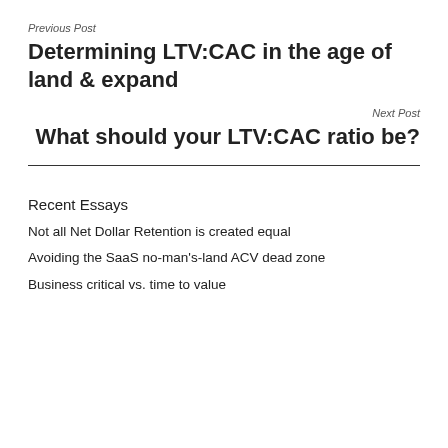Previous Post
Determining LTV:CAC in the age of land & expand
Next Post
What should your LTV:CAC ratio be?
Recent Essays
Not all Net Dollar Retention is created equal
Avoiding the SaaS no-man's-land ACV dead zone
Business critical vs. time to value